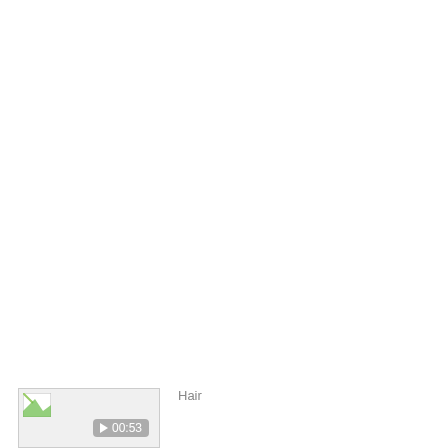[Figure (screenshot): Video thumbnail placeholder with broken image icon and duration badge showing 00:23]
Hair
Aurora Holo Nails ♡ with Pearls
Pearls on nails are so cute! Let's make a cool...
esNAIL ✓ 2019-01-04
[Figure (screenshot): Video thumbnail placeholder with broken image icon and duration badge showing 00:53]
Hair